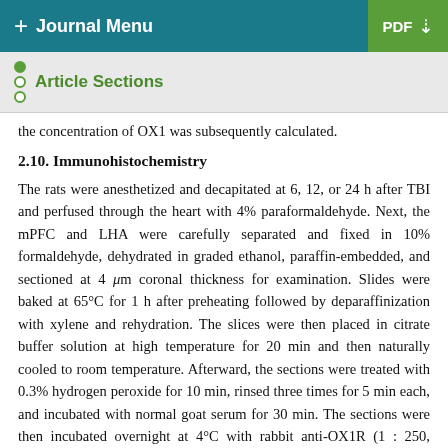+ Journal Menu | PDF ↓
Article Sections
the concentration of OX1 was subsequently calculated.
2.10. Immunohistochemistry
The rats were anesthetized and decapitated at 6, 12, or 24 h after TBI and perfused through the heart with 4% paraformaldehyde. Next, the mPFC and LHA were carefully separated and fixed in 10% formaldehyde, dehydrated in graded ethanol, paraffin-embedded, and sectioned at 4 μm coronal thickness for examination. Slides were baked at 65°C for 1 h after preheating followed by deparaffinization with xylene and rehydration. The slices were then placed in citrate buffer solution at high temperature for 20 min and then naturally cooled to room temperature. Afterward, the sections were treated with 0.3% hydrogen peroxide for 10 min, rinsed three times for 5 min each, and incubated with normal goat serum for 30 min. The sections were then incubated overnight at 4°C with rabbit anti-OX1R (1 : 250, Ab69718, Abcam) antibody, and a primary antibody (1